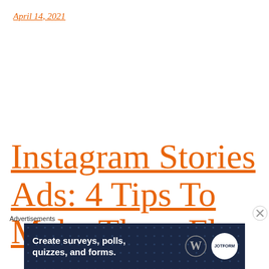April 14, 2021
Instagram Stories Ads: 4 Tips To Make Them Fly
Advertisements
[Figure (screenshot): Advertisement banner with dark navy background showing 'Create surveys, polls, quizzes, and forms.' with WordPress and survey tool logos on the right. A close (X) button appears in the bottom-right corner of the page.]